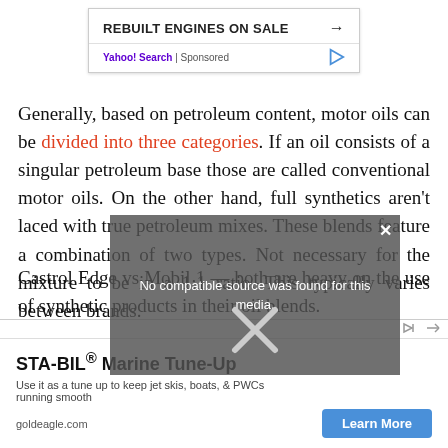[Figure (screenshot): Top advertisement banner: 'REBUILT ENGINES ON SALE' with right arrow, Yahoo! Search | Sponsored label and play icon.]
Generally, based on petroleum content, motor oils can be divided into three categories. If an oil consists of a singular petroleum base those are called conventional motor oils. On the other hand, full synthetics aren't laced with true petroleum mixes. These blends feature a combination of two types. Not necessary for the mixture to be in a 1:1 ratio. This typically varies between brands.
Castrol Edge vs Mobil 1 — both are heavy on the use of synthetic products in their oil blends.
1. FULL SYNTHETIC
[Figure (screenshot): Video overlay showing 'No compatible source was found for this media.' with close X button over product images.]
[Figure (screenshot): Bottom advertisement: STA-BIL® Marine Tune-Up. Use it as a tune up to keep jet skis, boats, & PWCs running smooth. goldeagle.com — Learn More button.]